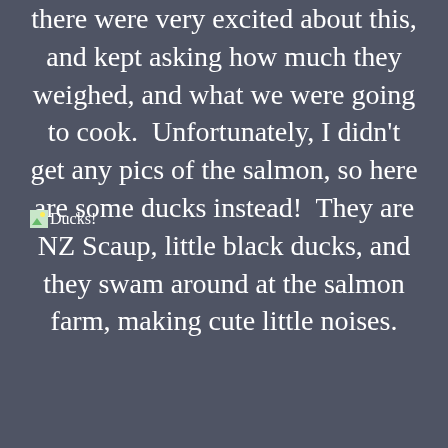there were very excited about this, and kept asking how much they weighed, and what we were going to cook.  Unfortunately, I didn't get any pics of the salmon, so here are some ducks instead!  They are NZ Scaup, little black ducks, and they swam around at the salmon farm, making cute little noises.
[Figure (photo): Broken image placeholder with alt text 'Ducks!']